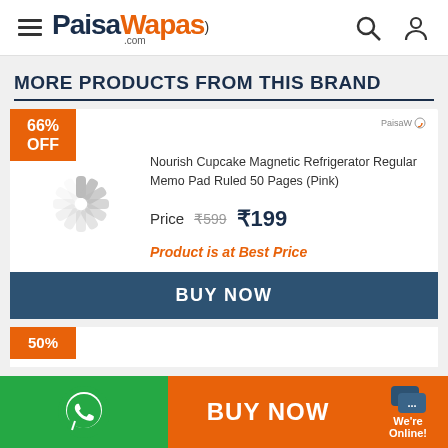PaisaWapas.com
MORE PRODUCTS FROM THIS BRAND
[Figure (screenshot): Product card for Nourish Cupcake Magnetic Refrigerator Regular Memo Pad Ruled 50 Pages (Pink) with 66% OFF badge, loading spinner image, price ₹199 (original ₹599), and BUY NOW button]
Nourish Cupcake Magnetic Refrigerator Regular Memo Pad Ruled 50 Pages (Pink)
Price ₹599 ₹199
Product is at Best Price